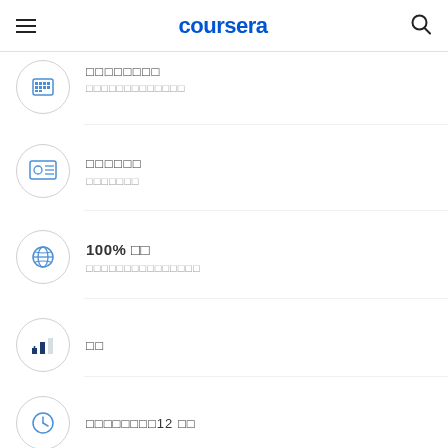coursera
□□□□□□□□
□□□□□□□□□□□□□
□□□□□□
□□□□□□□
100% □□
□□□□□□□□□□□□□□□
□□
□□□□□□□□12 □□